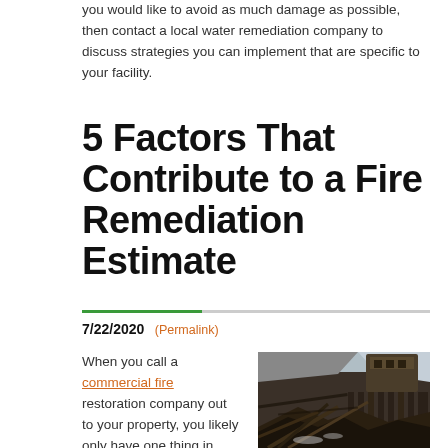you would like to avoid as much damage as possible, then contact a local water remediation company to discuss strategies you can implement that are specific to your facility.
5 Factors That Contribute to a Fire Remediation Estimate
7/22/2020 (Permalink)
When you call a commercial fire restoration company out to your property, you likely only have one thing in
[Figure (photo): Photograph of a severely fire-damaged commercial building with collapsed roof and charred structural elements against a grey sky]